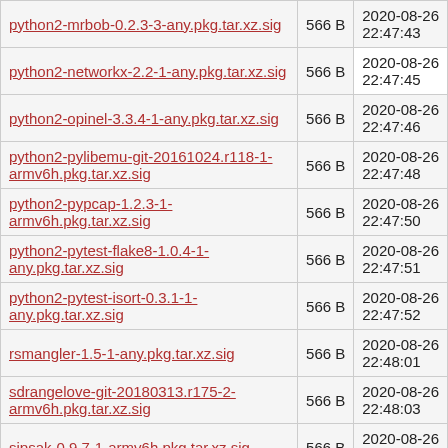| Filename | Size | Date |
| --- | --- | --- |
| python2-mrbob-0.2.3-3-any.pkg.tar.xz.sig | 566 B | 2020-08-26 22:47:43 |
| python2-networkx-2.2-1-any.pkg.tar.xz.sig | 566 B | 2020-08-26 22:47:45 |
| python2-opinel-3.3.4-1-any.pkg.tar.xz.sig | 566 B | 2020-08-26 22:47:46 |
| python2-pylibemu-git-20161024.r118-1-armv6h.pkg.tar.xz.sig | 566 B | 2020-08-26 22:47:48 |
| python2-pypcap-1.2.3-1-armv6h.pkg.tar.xz.sig | 566 B | 2020-08-26 22:47:50 |
| python2-pytest-flake8-1.0.4-1-any.pkg.tar.xz.sig | 566 B | 2020-08-26 22:47:51 |
| python2-pytest-isort-0.3.1-1-any.pkg.tar.xz.sig | 566 B | 2020-08-26 22:47:52 |
| rsmangler-1.5-1-any.pkg.tar.xz.sig | 566 B | 2020-08-26 22:48:01 |
| sdrangelove-git-20180313.r175-2-armv6h.pkg.tar.xz.sig | 566 B | 2020-08-26 22:48:03 |
| sipsak-0.9.7-1-armv6h.pkg.tar.xz.sig | 566 B | 2020-08-26 22:48:06 |
| snmpscan-0.1-6-... | ... | 2020-08-26 ... |